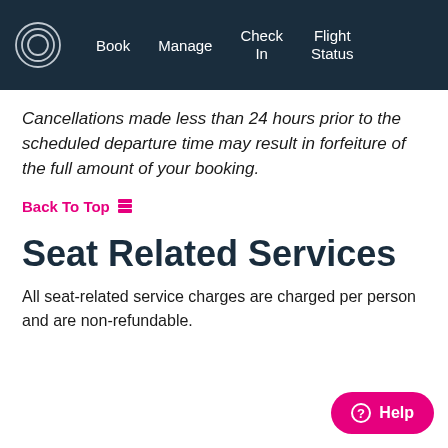Book | Manage | Check In | Flight Status
Cancellations made less than 24 hours prior to the scheduled departure time may result in forfeiture of the full amount of your booking.
Back To Top
Seat Related Services
All seat-related service charges are charged per person and are non-refundable.